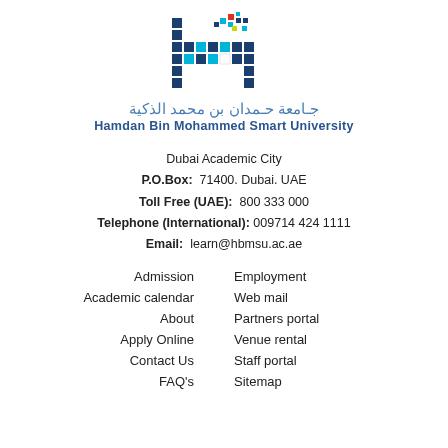[Figure (logo): Hamdan Bin Mohammed Smart University logo — pixelated H shape in blue, cyan, red and white]
جـامعة حـمدان بن محمد الذكية
Hamdan Bin Mohammed Smart University
Dubai Academic City
P.O.Box: 71400. Dubai. UAE
Toll Free (UAE): 800 333 000
Telephone (International): 009714 424 1111
Email: learn@hbmsu.ac.ae
Admission
Employment
Academic calendar
Web mail
About
Partners portal
Apply Online
Venue rental
Contact Us
Staff portal
FAQ's
Sitemap